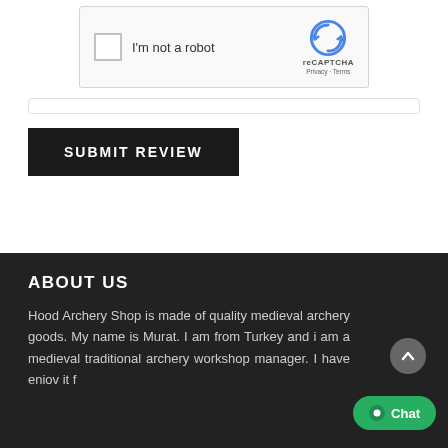[Figure (screenshot): reCAPTCHA widget showing checkbox labeled 'I'm not a robot' with reCAPTCHA logo, Privacy and Terms links]
SUBMIT REVIEW
ABOUT US
Hood Archery Shop is made of quality medieval archery goods. My name is Murat. I am from Turkey and i am a medieval traditional archery workshop manager. I have eniov it f...